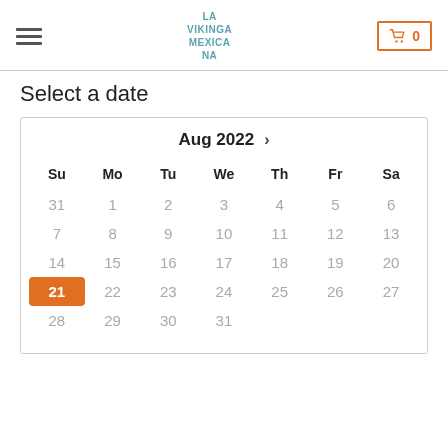LA VIKINGA MEXICANA — Cart 0
Select a date
[Figure (other): August 2022 calendar widget with day 21 highlighted in orange. Days of week: Su Mo Tu We Th Fr Sa. Rows: 31 1 2 3 4 5 6 / 7 8 9 10 11 12 13 / 14 15 16 17 18 19 20 / 21 22 23 24 25 26 27 / 28 29 30 31]